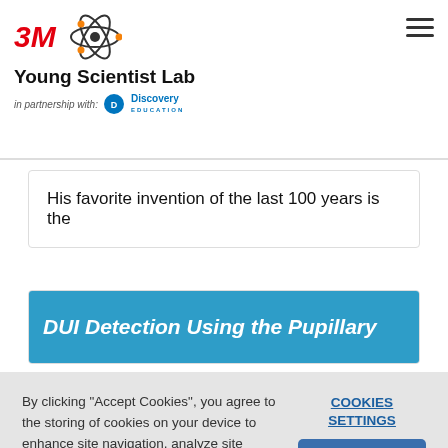3M Young Scientist Lab — in partnership with Discovery Education
His favorite invention of the last 100 years is the
DUI Detection Using the Pupillary
By clicking "Accept Cookies", you agree to the storing of cookies on your device to enhance site navigation, analyze site usage, and assist in our marketing efforts. Cookie Policy
COOKIES SETTINGS
ACCEPT COOKIES